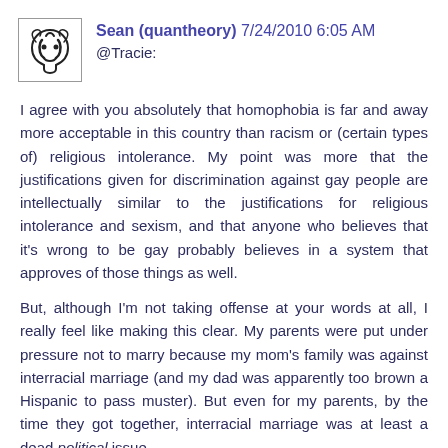[Figure (illustration): User avatar icon showing a stylized symbol in black ink on white background with a border]
Sean (quantheory) 7/24/2010 6:05 AM
@Tracie:
I agree with you absolutely that homophobia is far and away more acceptable in this country than racism or (certain types of) religious intolerance. My point was more that the justifications given for discrimination against gay people are intellectually similar to the justifications for religious intolerance and sexism, and that anyone who believes that it's wrong to be gay probably believes in a system that approves of those things as well.
But, although I'm not taking offense at your words at all, I really feel like making this clear. My parents were put under pressure not to marry because my mom's family was against interracial marriage (and my dad was apparently too brown a Hispanic to pass muster). But even for my parents, by the time they got together, interracial marriage was at least a dead political issue.